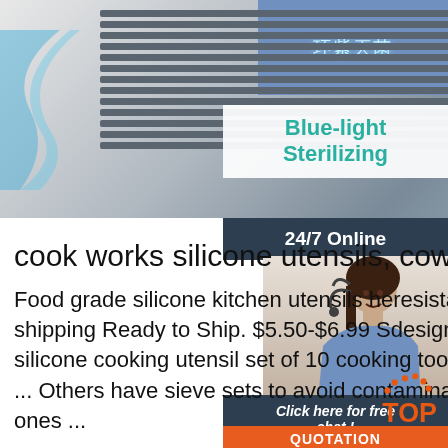[Figure (screenshot): E-commerce product page screenshot showing an appliance/air purifier image with blue grill vents, a screen panel with Chinese text and blue light, a 'Blue-light Sterilizing' label, a 24/7 Online customer service panel with agent photo, a chat bubble, a QUOTATION button, and a TOP icon. Main content shows product title and description for cook works silicone utensils.]
cook works silicone utensils, cook works silicone utensils ...
Food grade silicone kitchen utensils heat resistant cooking utensil set 10 pcs. Free shipping Ready to Ship. $5.50-$6.99 Set. design Non-stick kitchen utensils heat silicone cooking utensil set of 10 cooking tools. $14.50-$15.00 Set. 100 Sets ... Others have sieve sets to avoid contamination of fluids. The disposable ones ...